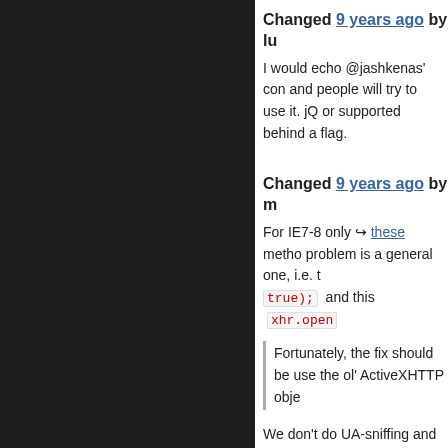Changed 9 years ago by lu
I would echo @jashkenas' con and people will try to use it. jQ or supported behind a flag.
Changed 9 years ago by m
For IE7-8 only ↪ these metho problem is a general one, i.e. t true); and this xhr.open
Fortunately, the fix should be use the ol' ActiveXHTTP obje
We don't do UA-sniffing and i k detection and fixed through wh activeX way in IE7-8. But, aga
@jabourg?
Changed 9 years ago by dr
Seems pretty rare to me. The
$.ajaxSetup(). or in the S